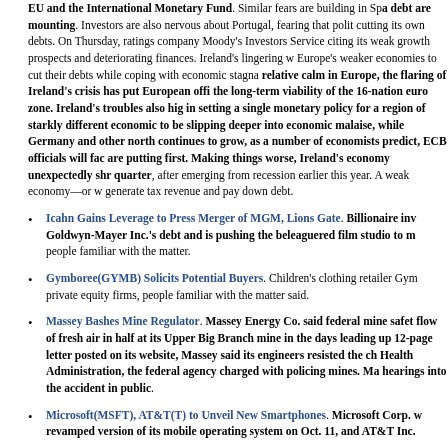EU and the International Monetary Fund. Similar fears are building in Spain, where debt are mounting. Investors are also nervous about Portugal, fearing that politics are cutting its own debts. On Thursday, ratings company Moody's Investors Service citing its weak growth prospects and deteriorating finances. Ireland's lingering w Europe's weaker economies to cut their debts while coping with economic stagna relative calm in Europe, the flaring of Ireland's crisis has put European offi the long-term viability of the 16-nation euro zone. Ireland's troubles also hig in setting a single monetary policy for a region of starkly different economic to be slipping deeper into economic malaise, while Germany and other north continues to grow, as a number of economists predict, ECB officials will fac are putting first. Making things worse, Ireland's economy unexpectedly shr quarter, after emerging from recession earlier this year. A weak economy—or w generate tax revenue and pay down debt.
Icahn Gains Leverage to Press Merger of MGM, Lions Gate. Billionaire inv Goldwyn-Mayer Inc.'s debt and is pushing the beleaguered film studio to m people familiar with the matter.
Gymboree(GYMB) Solicits Potential Buyers. Children's clothing retailer Gym private equity firms, people familiar with the matter said.
Massey Bashes Mine Regulator. Massey Energy Co. said federal mine safet flow of fresh air in half at its Upper Big Branch mine in the days leading up 12-page letter posted on its website, Massey said its engineers resisted the ch Health Administration, the federal agency charged with policing mines. Ma hearings into the accident in public.
Microsoft(MSFT), AT&T(T) to Unveil New Smartphones. Microsoft Corp. w revamped version of its mobile operating system on Oct. 11, and AT&T Inc.